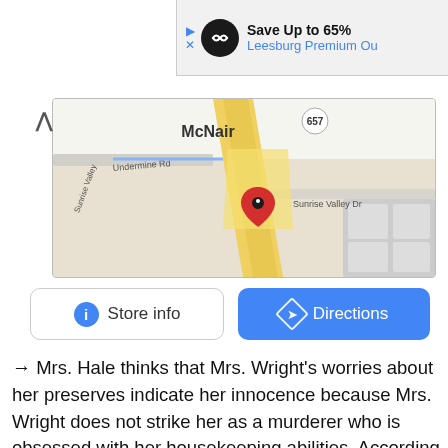[Figure (screenshot): Ad banner showing 'Save Up to 65% Leesburg Premium Ou...' with a black circular logo]
[Figure (map): Google Maps screenshot showing McNair area with route 657, Undermine Rd, Sunrise Valley Dr, and a red location pin]
[Figure (screenshot): Store info and Directions buttons below the map]
→ Mrs. Hale thinks that Mrs. Wright's worries about her preserves indicate her innocence because Mrs. Wright does not strike her as a murderer who is obsessed with her housekeeping abilities. According to her, a person who is overly concerned with her preserves cannot possibly commit murder. Her attention to detail in her housekeeping skills demonstrates her innocence.